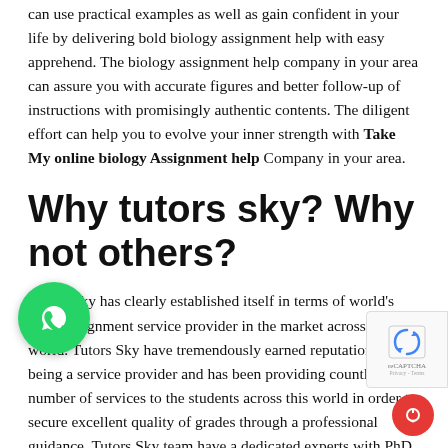can use practical examples as well as gain confident in your life by delivering bold biology assignment help with easy apprehend. The biology assignment help company in your area can assure you with accurate figures and better follow-up of instructions with promisingly authentic contents. The diligent effort can help you to evolve your inner strength with Take My online biology Assignment help Company in your area.
Why tutors sky? Why not others?
Tutors Sky has clearly established itself in terms of world's No-1 assignment service provider in the market across the world. Tutors Sky have tremendously earned reputation of being a service provider and has been providing countless number of services to the students across this world in order to secure excellent quality of grades through a professional guidance. Tutors Sky team have a dedicated experts with PhD qualified content writing experts who are not only competent but also